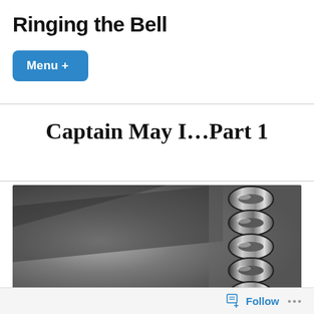Ringing the Bell
Menu +
Captain May I…Part 1
[Figure (photo): Black and white close-up photograph of metal chain links against a blurred diagonal background]
Follow ...